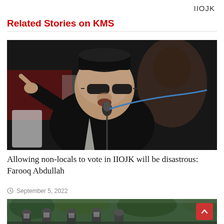IIOJK
Related Stories on KMS
[Figure (photo): Man in black sherwani and black karakul cap with sunglasses, pointing finger, speaking at a microphone with blue cable, crowd/banner in background]
Allowing non-locals to vote in IIOJK will be disastrous: Farooq Abdullah
September 5, 2022
[Figure (photo): Soldiers/security forces in helmets and face masks in a forested area]